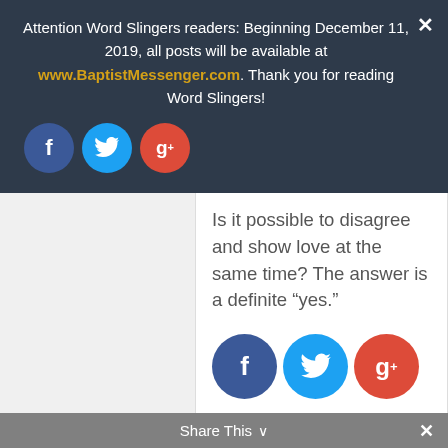Attention Word Slingers readers: Beginning December 11, 2019, all posts will be available at www.BaptistMessenger.com. Thank you for reading Word Slingers!
[Figure (other): Social media share buttons: Facebook (blue circle with f), Twitter (light blue circle with bird), Google+ (red-orange circle with g+)]
Is it possible to disagree and show love at the same time? The answer is a definite “yes.”
[Figure (other): Social media share buttons (larger): Facebook (dark blue circle with f), Twitter (light blue circle with bird), Google+ (red-orange circle with g+)]
Related Posts:
Share This
Heirlooms (#3):